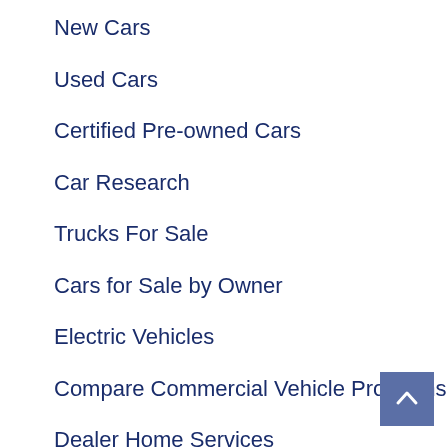New Cars
Used Cars
Certified Pre-owned Cars
Car Research
Trucks For Sale
Cars for Sale by Owner
Electric Vehicles
Compare Commercial Vehicle Programs
Dealer Home Services
KBB on Autotrader